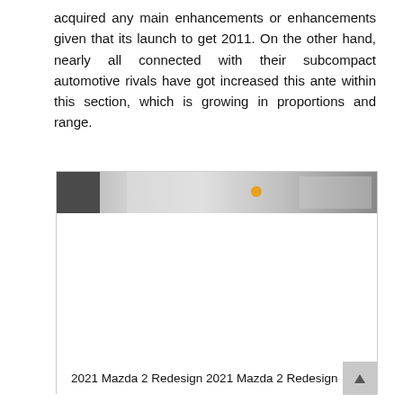acquired any main enhancements or enhancements given that its launch to get 2011. On the other hand, nearly all connected with their subcompact automotive rivals have got increased this ante within this section, which is growing in proportions and range.
[Figure (photo): Partial photo showing a car interior or exterior scene with dark and light tones and an orange circular element, mostly obscured/blank below. Caption reads: 2021 Mazda 2 Redesign 2021 Mazda 2 Redesign]
2021 Mazda 2 Redesign 2021 Mazda 2 Redesign